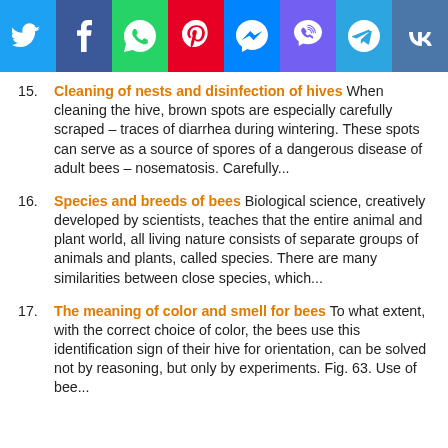[Figure (infographic): Social media sharing icon bar with Twitter, Facebook, WhatsApp, Pinterest, Messenger, Viber, Telegram, VK icons on colored backgrounds]
15. Cleaning of nests and disinfection of hives When cleaning the hive, brown spots are especially carefully scraped – traces of diarrhea during wintering. These spots can serve as a source of spores of a dangerous disease of adult bees – nosematosis. Carefully...
16. Species and breeds of bees Biological science, creatively developed by scientists, teaches that the entire animal and plant world, all living nature consists of separate groups of animals and plants, called species. There are many similarities between close species, which...
17. The meaning of color and smell for bees To what extent, with the correct choice of color, the bees use this identification sign of their hive for orientation, can be solved not by reasoning, but only by experiments. Fig. 63. Use of bee...